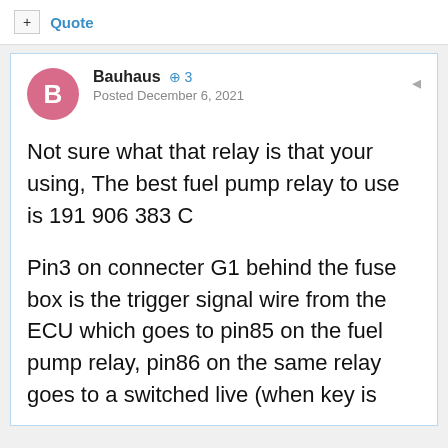Quote
Bauhaus  +3
Posted December 6, 2021
Not sure what that relay is that your using, The best fuel pump relay to use is 191 906 383 C
Pin3 on connecter G1 behind the fuse box is the trigger signal wire from the ECU which goes to pin85 on the fuel pump relay, pin86 on the same relay goes to a switched live (when key is